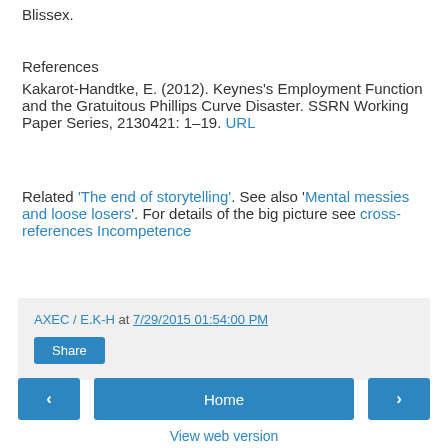Blissex.
References
Kakarot-Handtke, E. (2012). Keynes's Employment Function and the Gratuitous Phillips Curve Disaster. SSRN Working Paper Series, 2130421: 1–19. URL
Related 'The end of storytelling'. See also 'Mental messies and loose losers'. For details of the big picture see cross-references Incompetence
AXEC / E.K-H at 7/29/2015 01:54:00 PM
Share
Home
View web version